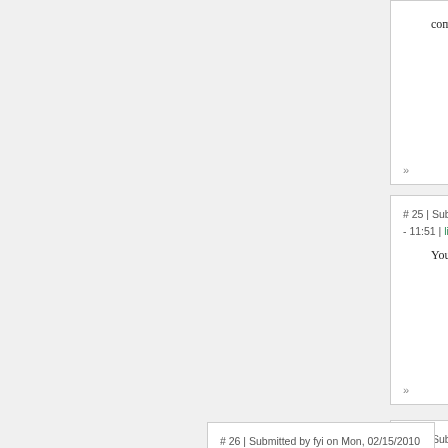combination
»
# 25 | Submitted by Irene on Thu, 12/31/2009 - 11:51 | link
You all sound like Nazis.
»
# 26 | Submitted by fyi on Mon, 02/15/2010 - 13:51 | link
In case you were wondering, testosterone is a by-product of estradiol. Estradiol is essentially estrogen. Many people